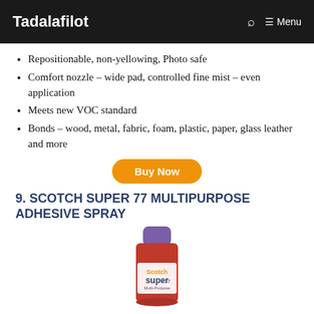Tadalafilot
Repositionable, non-yellowing, Photo safe
Comfort nozzle – wide pad, controlled fine mist – even application
Meets new VOC standard
Bonds – wood, metal, fabric, foam, plastic, paper, glass leather and more
Buy Now
9. SCOTCH SUPER 77 MULTIPURPOSE ADHESIVE SPRAY
[Figure (photo): Scotch Super 77 multipurpose adhesive spray can with purple cap and red body, partial view from below]